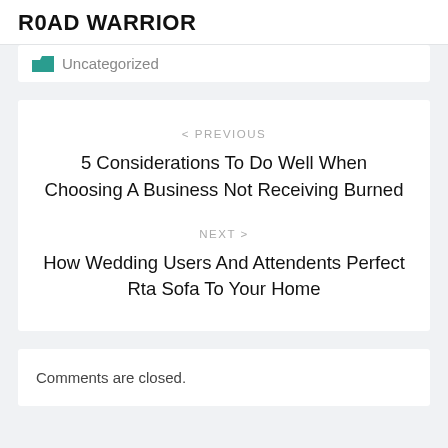R0AD WARRIOR
Uncategorized
< PREVIOUS
5 Considerations To Do Well When Choosing A Business Not Receiving Burned
NEXT >
How Wedding Users And Attendents Perfect Rta Sofa To Your Home
Comments are closed.